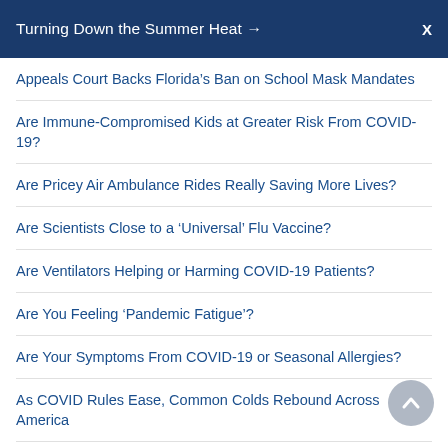Turning Down the Summer Heat → X
Appeals Court Backs Florida's Ban on School Mask Mandates
Are Immune-Compromised Kids at Greater Risk From COVID-19?
Are Pricey Air Ambulance Rides Really Saving More Lives?
Are Scientists Close to a 'Universal' Flu Vaccine?
Are Ventilators Helping or Harming COVID-19 Patients?
Are You Feeling 'Pandemic Fatigue'?
Are Your Symptoms From COVID-19 or Seasonal Allergies?
As COVID Rules Ease, Common Colds Rebound Across America
As Deaths Continue in Italy, a Lesson for the United